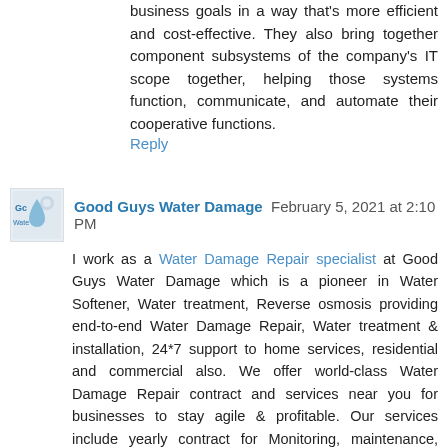business goals in a way that's more efficient and cost-effective. They also bring together component subsystems of the company's IT scope together, helping those systems function, communicate, and automate their cooperative functions.
Reply
Good Guys Water Damage  February 5, 2021 at 2:10 PM
I work as a Water Damage Repair specialist at Good Guys Water Damage which is a pioneer in Water Softener, Water treatment, Reverse osmosis providing end-to-end Water Damage Repair, Water treatment & installation, 24*7 support to home services, residential and commercial also. We offer world-class Water Damage Repair contract and services near you for businesses to stay agile & profitable. Our services include yearly contract for Monitoring, maintenance, Support, and helpdesk service across the Arizona.
best water treatment service
best water damage contractor